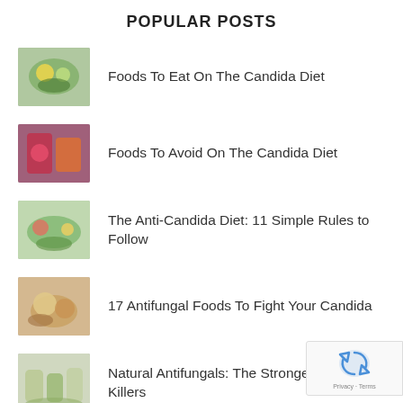POPULAR POSTS
Foods To Eat On The Candida Diet
Foods To Avoid On The Candida Diet
The Anti-Candida Diet: 11 Simple Rules to Follow
17 Antifungal Foods To Fight Your Candida
Natural Antifungals: The Strongest Candida Killers
RECENT POSTS
7 ways Candida Could Be Ruining Your Social Life